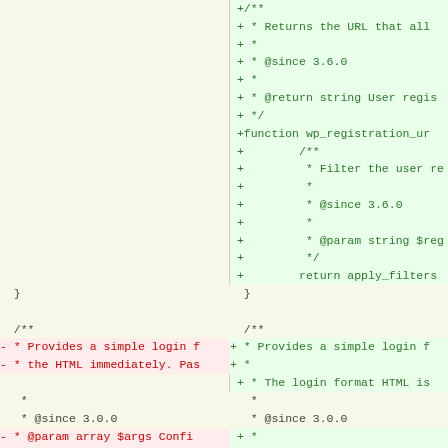[Figure (screenshot): Code diff view showing two columns. Left column shows removed lines (red) and context lines, right column shows added lines (green) for PHP WordPress functions wp_registration_url and wp_login_form. The diff shows additions of JSDoc comment blocks and function implementations.]